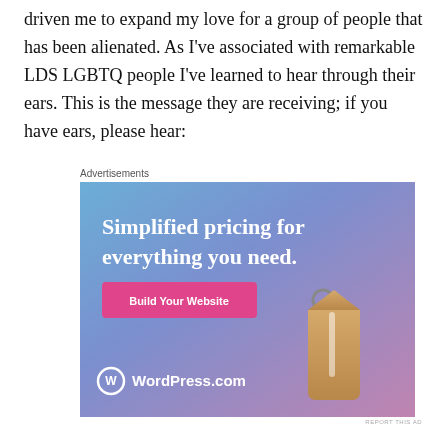driven me to expand my love for a group of people that has been alienated. As I've associated with remarkable LDS LGBTQ people I've learned to hear through their ears. This is the message they are receiving; if you have ears, please hear:
Advertisements
[Figure (illustration): WordPress.com advertisement banner with blue-to-purple gradient background, text 'Simplified pricing for everything you need.', a pink 'Build Your Website' button, a tan price tag illustration, and WordPress.com logo at the bottom left.]
REPORT THIS AD